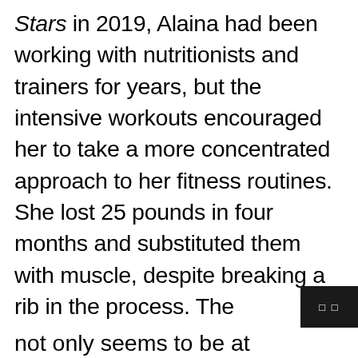Stars in 2019, Alaina had been working with nutritionists and trainers for years, but the intensive workouts encouraged her to take a more concentrated approach to her fitness routines. She lost 25 pounds in four months and substituted them with muscle, despite breaking a rib in the process. The songstress finished fourth in the famous dance show, but she reigns supreme in her singing career. According to her website, she has a new album, Getting Over Him, out this month, as well as a new gig as the host of a new Circle TV series, Jesus Calling: Stories of Faith. Alaina not only seems to be at the pinnacle of her